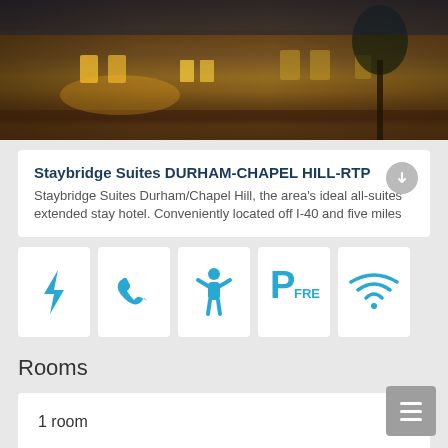[Figure (photo): Exterior photo of Staybridge Suites hotel at dusk/evening with warm lighting]
Staybridge Suites DURHAM-CHAPEL HILL-RTP
Staybridge Suites Durham/Chapel Hill, the area's ideal all-suites extended stay hotel. Conveniently located off I-40 and five miles
[Figure (infographic): Row of 5 amenity icons: lightning bolt, phone, person/kid, parking FREE, WiFi]
Rooms
1 room
2 adults